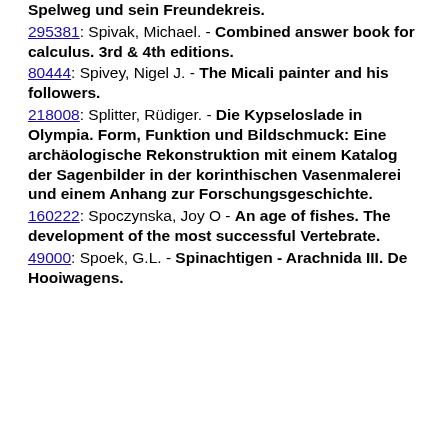Spelweg und sein Freundekreis.
295381: Spivak, Michael. - Combined answer book for calculus. 3rd & 4th editions.
80444: Spivey, Nigel J. - The Micali painter and his followers.
218008: Splitter, Rüdiger. - Die Kypseloslade in Olympia. Form, Funktion und Bildschmuck: Eine archäologische Rekonstruktion mit einem Katalog der Sagenbilder in der korinthischen Vasenmalerei und einem Anhang zur Forschungsgeschichte.
160222: Spoczynska, Joy O - An age of fishes. The development of the most successful Vertebrate.
49000: Spoek, G.L. - Spinachtigen - Arachnida III. De Hooiwagens.